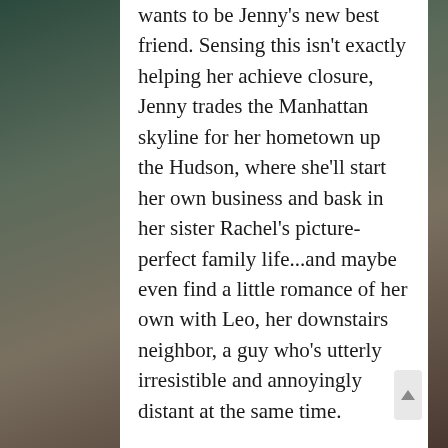wants to be Jenny's new best friend. Sensing this isn't exactly helping her achieve closure, Jenny trades the Manhattan skyline for her hometown up the Hudson, where she'll start her own business and bask in her sister Rachel's picture-perfect family life...and maybe even find a little romance of her own with Leo, her downstairs neighbor, a guy who's utterly irresistible and annoyingly distant at the same time.

The drama, hilarity and tears of sisterhood are at the heart of the